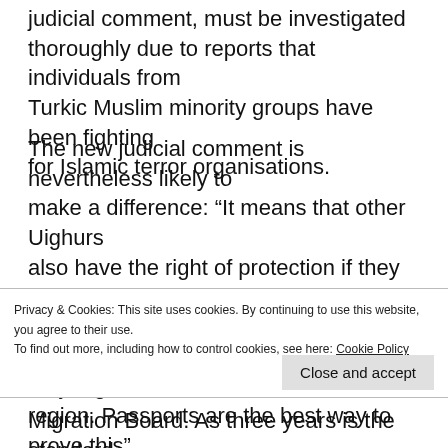judicial comment, must be investigated thoroughly due to reports that individuals from Turkic Muslim minority groups have been fighting for Islamic terror organisations.
The new judicial comment is nevertheless likely to make a difference: “It means that other Uighurs also have the right of protection if they successfully make their way to Sweden, as long as they can prove that they are from the Xinjiang region. Passports are the best way to prove this”, says lawyer Marie Källham
Privacy & Cookies: This site uses cookies. By continuing to use this website, you agree to their use.
To find out more, including how to control cookies, see here: Cookie Policy
Close and accept
Migration Board. As three years is the standard